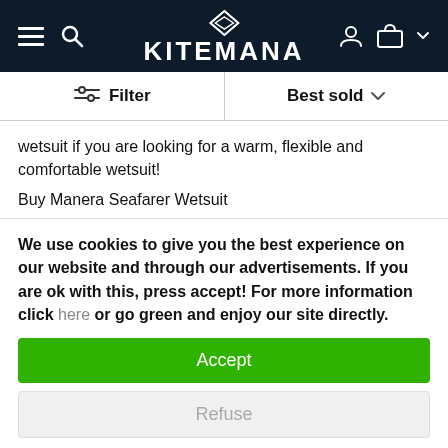KITEMANA
wetsuit if you are looking for a warm, flexible and comfortable wetsuit!
Buy Manera Seafarer Wetsuit
The Manera Seafarer has everything you need for a wetsuit. The Seafarer takes us back to the essence of what makes a good wetsuit, nothing more, nothing less: warmth, comfort, durability. It is a
We use cookies to give you the best experience on our website and through our advertisements. If you are ok with this, press accept! For more information click here or go green and enjoy our site directly.